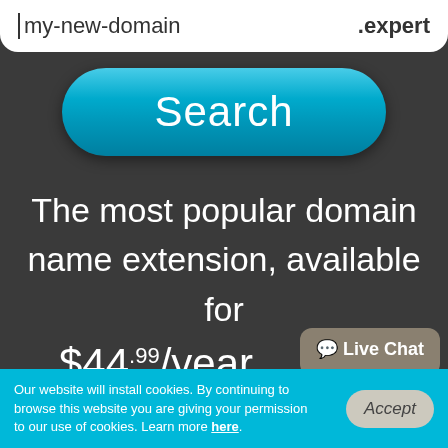[Figure (screenshot): Domain search input field showing 'my-new-domain' text with '.expert' extension on the right]
[Figure (screenshot): Teal/blue rounded 'Search' button]
The most popular domain name extension, available for
$44.99/year
[Figure (screenshot): Live Chat button (speech bubble style, dark olive/brown color)]
Our website will install cookies. By continuing to browse this website you are giving your permission to our use of cookies. Learn more here.